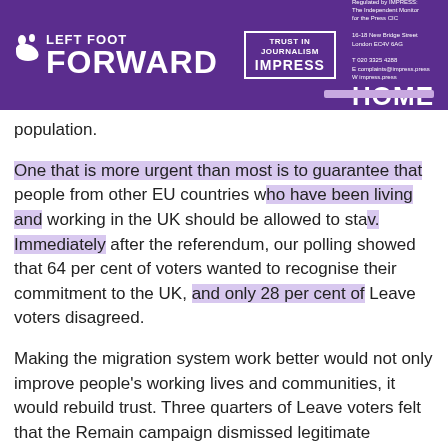LEFT FOOT FORWARD — TRUST IN JOURNALISM IMPRESS — HOME
population.
One that is more urgent than most is to guarantee that people from other EU countries who have been living and working in the UK should be allowed to stay. Immediately after the referendum, our polling showed that 64 per cent of voters wanted to recognise their commitment to the UK, and only 28 per cent of Leave voters disagreed.
Making the migration system work better would not only improve people's working lives and communities, it would rebuild trust. Three quarters of Leave voters felt that the Remain campaign dismissed legitimate concerns about immigration, but so too did nearly a third of Remain voters.
Engaging with the TUC's proposals for managing